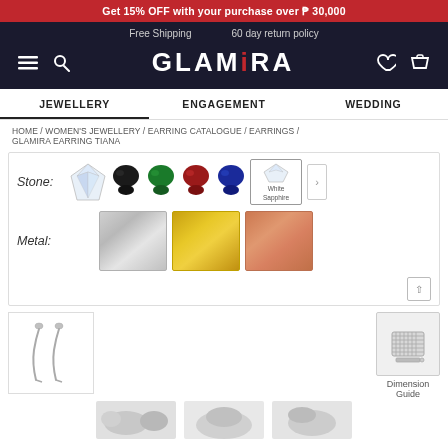Get 15% OFF with your purchase over ₱ 30,000
Free Shipping   60 day return policy
GLAMIRA
JEWELLERY   ENGAGEMENT   WEDDING
HOME / WOMEN'S JEWELLERY / EARRING CATALOGUE / EARRINGS / GLAMIRA EARRING TIANA
Stone:
Metal:
White Sapphire
[Figure (screenshot): Earring thumbnail showing two silver hoop/drop earrings]
Dimension Guide